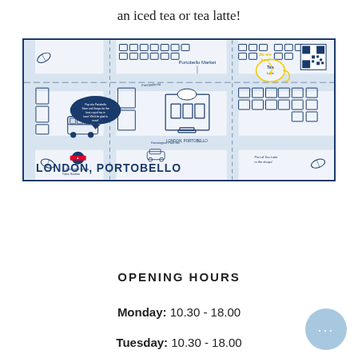an iced tea or tea latte!
[Figure (map): Illustrated map of London Portobello area showing streets, buildings, a London bus, a double-decker bus, a QR code, a tea cup marked 'We are here!', Underground symbol, and label 'LONDON, PORTOBELLO' at the bottom left.]
OPENING HOURS
Monday: 10.30 - 18.00
Tuesday: 10.30 - 18.00